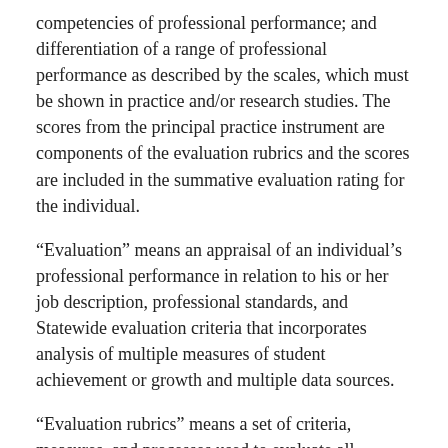competencies of professional performance; and differentiation of a range of professional performance as described by the scales, which must be shown in practice and/or research studies. The scores from the principal practice instrument are components of the evaluation rubrics and the scores are included in the summative evaluation rating for the individual.
“Evaluation” means an appraisal of an individual’s professional performance in relation to his or her job description, professional standards, and Statewide evaluation criteria that incorporates analysis of multiple measures of student achievement or growth and multiple data sources.
“Evaluation rubrics” means a set of criteria, measures, and processes used to evaluate all Principals, Vice Principals, and Assistant Principals in a specific school district or local education agency. Evaluation rubrics consist of measures of professional practice, based on